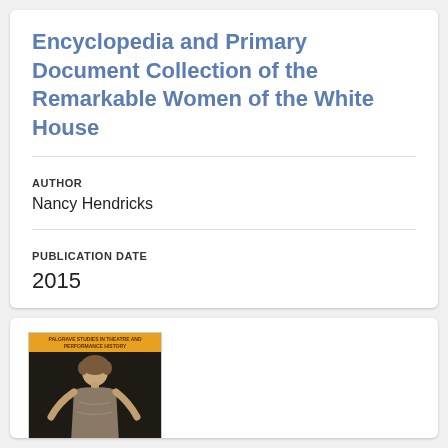Encyclopedia and Primary Document Collection of the Remarkable Women of the White House
AUTHOR
Nancy Hendricks
PUBLICATION DATE
2015
[Figure (photo): Book cover of 'American Cinderellas on the Broadway Musical Stage: Imagining the Working Girl from Irene to Gypsy'. Orange cover with a black and white photo of a woman in 1920s attire.]